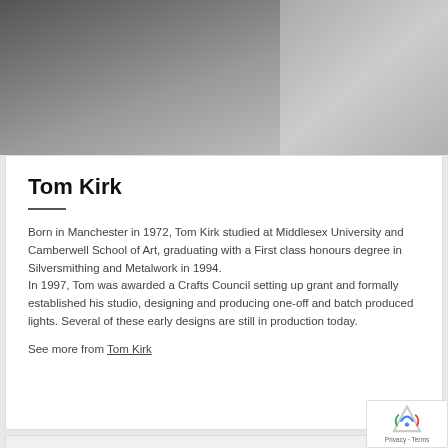[Figure (photo): Black and white photo showing a person (left) and an object/furniture (right)]
Tom Kirk
Born in Manchester in 1972, Tom Kirk studied at Middlesex University and Camberwell School of Art, graduating with a First class honours degree in Silversmithing and Metalwork in 1994.
In 1997, Tom was awarded a Crafts Council setting up grant and formally established his studio, designing and producing one-off and batch produced lights. Several of these early designs are still in production today.
See more from Tom Kirk
[Figure (logo): reCAPTCHA badge with Privacy and Terms links]